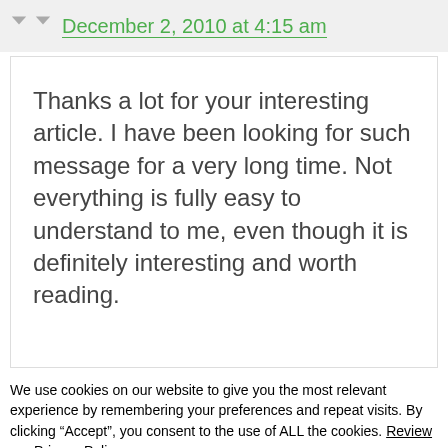December 2, 2010 at 4:15 am
Thanks a lot for your interesting article. I have been looking for such message for a very long time. Not everything is fully easy to understand to me, even though it is definitely interesting and worth reading.
We use cookies on our website to give you the most relevant experience by remembering your preferences and repeat visits. By clicking “Accept”, you consent to the use of ALL the cookies. Review our Privacy Policy.
Do not sell my personal information.
COOKIE SETTINGS
ACCEPT